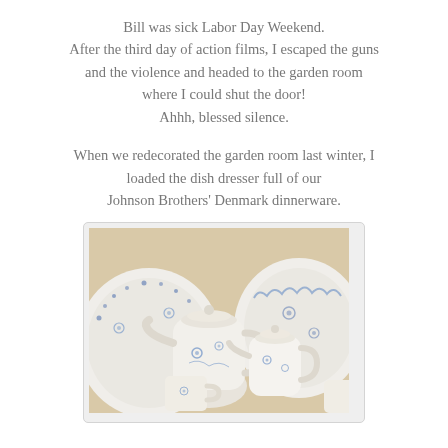Bill was sick Labor Day Weekend.
After the third day of action films, I escaped the guns and the violence and headed to the garden room where I could shut the door!
Ahhh, blessed silence.
When we redecorated the garden room last winter, I loaded the dish dresser full of our Johnson Brothers' Denmark dinnerware.
[Figure (photo): Blue and white Johnson Brothers Denmark dinnerware including teapots and plates with floral blue patterns arranged on a display]